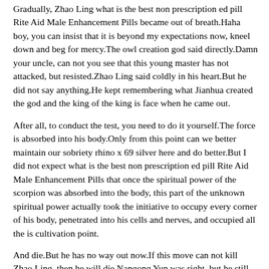Gradually, Zhao Ling what is the best non prescription ed pill Rite Aid Male Enhancement Pills became out of breath.Haha boy, you can insist that it is beyond my expectations now, kneel down and beg for mercy.The owl creation god said directly.Damn your uncle, can not you see that this young master has not attacked, but resisted.Zhao Ling said coldly in his heart.But he did not say anything.He kept remembering what Jianhua created the god and the king of the king is face when he came out.
After all, to conduct the test, you need to do it yourself.The force is absorbed into his body.Only from this point can we better maintain our sobriety rhino x 69 silver here and do better.But I did not expect what is the best non prescription ed pill Rite Aid Male Enhancement Pills that once the spiritual power of the scorpion was absorbed into the body, this part of the unknown spiritual power actually took the initiative to occupy every corner of his body, penetrated into his cells and nerves, and occupied all the is cultivation point.
And die.But he has no way out now.If this move can not kill Zhao Ling, then he will die.Nangong Yun was right, but he still muttered about Zhao Ling is strength.In the realm of the gods, Zhao Ling who created the world had many adventures.Not only did he cultivate deep Daoism, but he also had countless successors.Sure enough, Zhao extenze maximum strength male Ling moved his feet to…